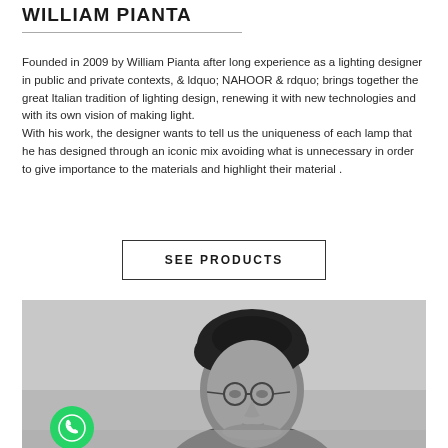WILLIAM PIANTA
Founded in 2009 by William Pianta after long experience as a lighting designer in public and private contexts, & ldquo; NAHOOR & rdquo; brings together the great Italian tradition of lighting design, renewing it with new technologies and with its own vision of making light.
With his work, the designer wants to tell us the uniqueness of each lamp that he has designed through an iconic mix avoiding what is unnecessary in order to give importance to the materials and highlight their material .
SEE PRODUCTS
[Figure (photo): Black and white portrait photograph of William Pianta, a man with curly dark hair and round glasses, shown from roughly the shoulders up against a light gray background. A green WhatsApp icon is overlaid in the bottom-left corner of the image.]